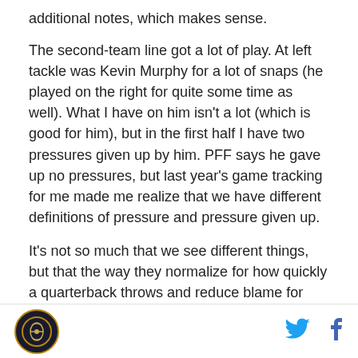additional notes, which makes sense.
The second-team line got a lot of play. At left tackle was Kevin Murphy for a lot of snaps (he played on the right for quite some time as well). What I have on him isn't a lot (which is good for him), but in the first half I have two pressures given up by him. PFF says he gave up no pressures, but last year's game tracking for me made me realize that we have different definitions of pressure and pressure given up.
It's not so much that we see different things, but that the way they normalize for how quickly a quarterback throws and reduce blame for later pressures runs on a slightly different scale than mine. It works for them, and
[logo] [twitter] [facebook]